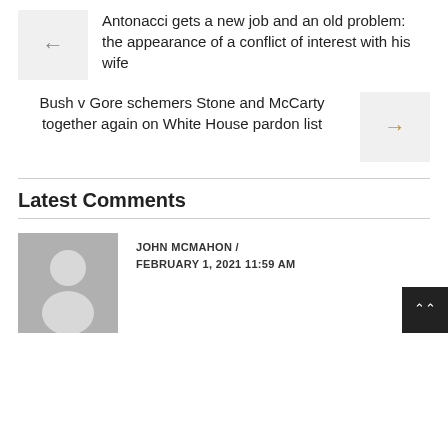Antonacci gets a new job and an old problem: the appearance of a conflict of interest with his wife
Bush v Gore schemers Stone and McCarty together again on White House pardon list
Latest Comments
JOHN MCMAHON / FEBRUARY 1, 2021 11:59 AM